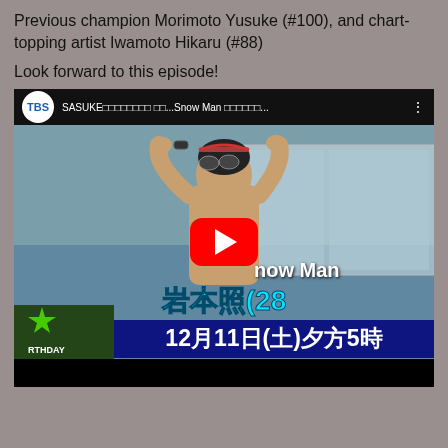Previous champion Morimoto Yusuke (#100), and chart-topping artist Iwamoto Hikaru (#88)
Look forward to this episode!
[Figure (screenshot): YouTube video thumbnail from TBS channel showing SASUKE program featuring Snow Man member Iwamoto Hikaru (岩本照), wearing a swim cap and goggles at a pool. Overlay text shows Japanese characters 岩本照(28) and date 12月11日(土)夕方5時. A YouTube play button is centered on the image. Bottom left shows a green star logo with RTHDAY text.]